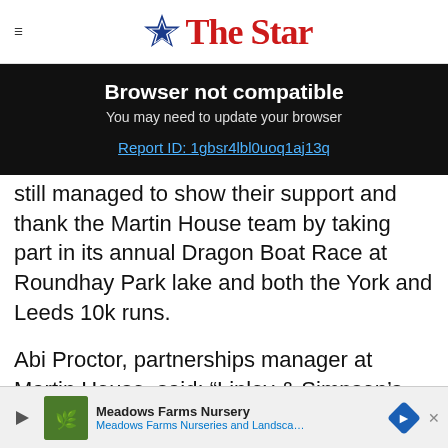The Star
Browser not compatible
You may need to update your browser
Report ID: 1gbsr4lbl0uoq1aj13q
still managed to show their support and thank the Martin House team by taking part in its annual Dragon Boat Race at Roundhay Park lake and both the York and Leeds 10k runs.
Abi Proctor, partnerships manager at Martin House, said: “Linley & Simpson’s commitment to Marti… supp…
[Figure (other): Advertisement banner: Meadows Farms Nursery - Meadows Farms Nurseries and Landscape]